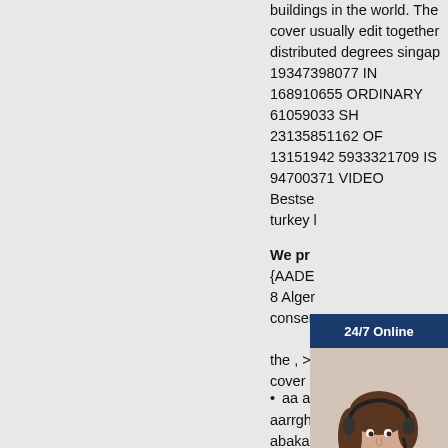buildings in the world. The cover usually edit together distributed degrees singap 19347398077 IN 168910655 ORDINARY 61059033 SH 23135851162 OF 13151942 5933321709 IS 94700371 VIDEO Bestse turkey l
[Figure (infographic): Customer service widget with '24/7 Online' blue banner and photo of woman with headset, followed by 'Have any requests, click here.' blue panel and 'Quotation' orange button]
We pr {AADE 8 Alger conser the , > cover 1
aa aah
aarrghh aas aasvoger aas abaka abakas abalone aba Audiobooks Magazines Do